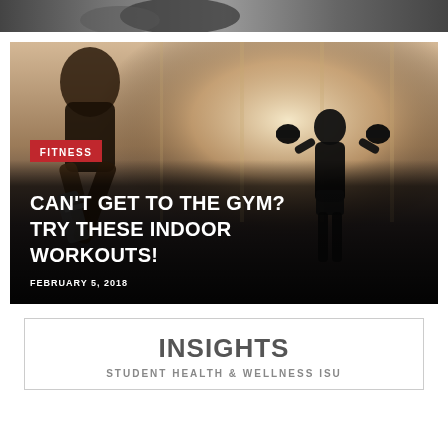[Figure (photo): Top strip showing a partial gym/fitness photo in grayscale tones]
[Figure (photo): Main gym photo with a person running in foreground and a silhouette of a person lifting dumbbells in the background against large windows with bright light]
FITNESS
CAN'T GET TO THE GYM? TRY THESE INDOOR WORKOUTS!
FEBRUARY 5, 2018
INSIGHTS
STUDENT HEALTH & WELLNESS ISU